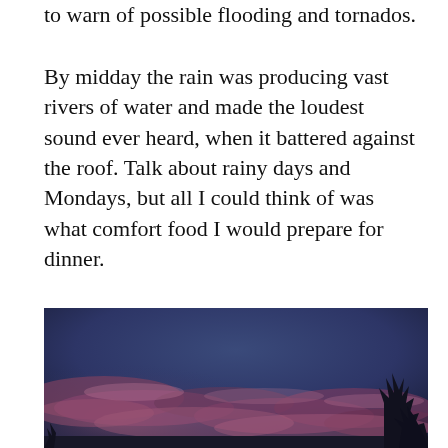to warn of possible flooding and tornados.
By midday the rain was producing vast rivers of water and made the loudest sound ever heard, when it battered against the roof. Talk about rainy days and Mondays, but all I could think of was what comfort food I would prepare for dinner.
[Figure (photo): Photograph of a dramatic twilight sky with deep blue and purple hues, scattered pink-tinged clouds, and dark silhouettes of trees visible in the lower right corner.]